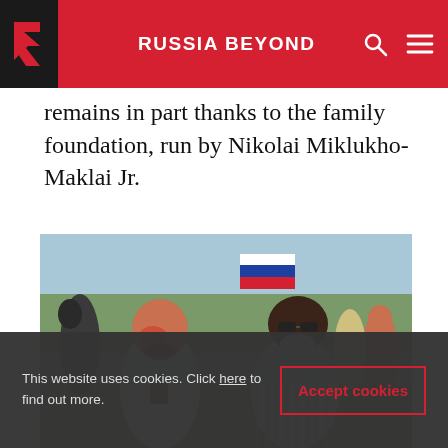RUSSIA BEYOND
remains in part thanks to the family foundation, run by Nikolai Miklukho-Maklai Jr.
[Figure (photo): Two men standing together outdoors at a gathering. Left: a bald man with red face paint wearing a white long-sleeve shirt with a decorative wooden pendant. Right: an older dark-skinned man in a striped shirt wearing sunglasses. A Russian flag and crowd visible in the background near a waterfront.]
This website uses cookies. Click here to find out more.
Accept cookies